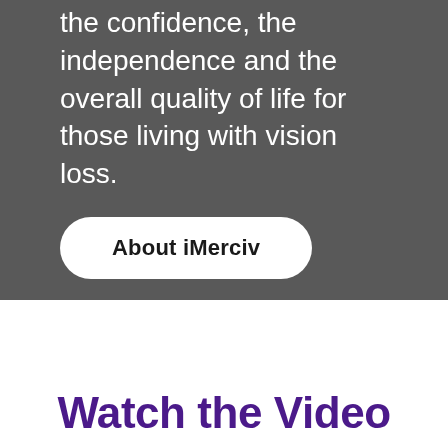iMerciv is dedicated to improving the confidence, the independence and the overall quality of life for those living with vision loss.
About iMerciv
Watch the Video